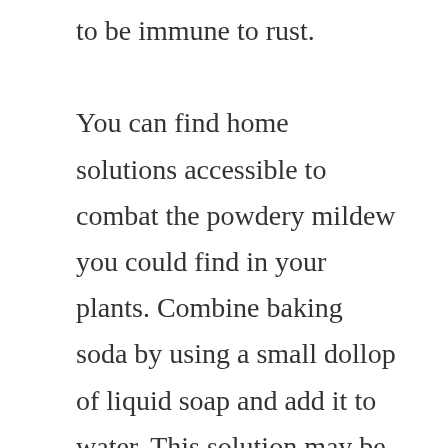to be immune to rust.

You can find home solutions accessible to combat the powdery mildew you could find in your plants. Combine baking soda by using a small dollop of liquid soap and add it to water. This solution may be sprayed onto your plants once weekly until the issue is resolved. Baking soda is safe for usage on the plants and it is a gentle, but effective way to look after your plants.